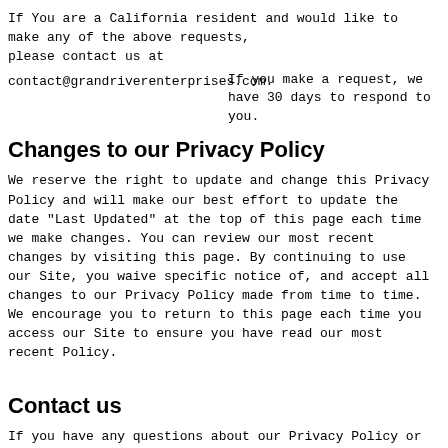If You are a California resident and would like to make any of the above requests, please contact us at
contact@grandriverenterprises.com.
If you make a request, we have 30 days to respond to you.
Changes to our Privacy Policy
We reserve the right to update and change this Privacy Policy and will make our best effort to update the date "Last Updated" at the top of this page each time we make changes. You can review our most recent changes by visiting this page. By continuing to use our Site, you waive specific notice of, and accept all changes to our Privacy Policy made from time to time. We encourage you to return to this page each time you access our Site to ensure you have read our most recent Policy.
Contact us
If you have any questions about our Privacy Policy or wish to exercise any of your rights as set out in this Privacy Policy, please contact our dedicated data manager at contact@grandriverenterprises.com.